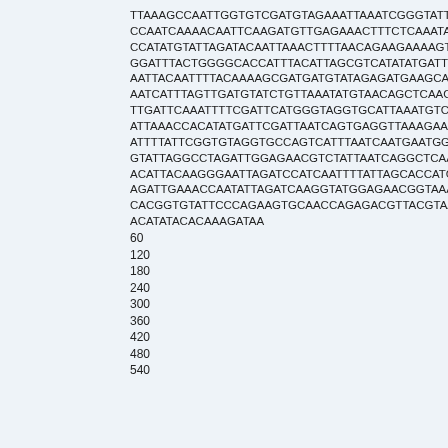TTAAAGCCAATTGGTGTCGATGTAGAAATTAAATCGGGTATTGGT
CCAATCAAAACAATTCAAGATGTTGAGAAACTTTCTCAAATAGAC
CCATATGTATTAGATACAATTAAACTTTTAACAGAAGAAAAGTTAAA
GGATTTACTGGGGCACCATTTACATTAGCGTCATATATGATTGAAC
AATTACAATTTTACAAAAGCGATGATGTATAGAGATGAAGCAACAT
AATCATTTAGTTGATGTATCTGTTAAATATGTAACAGCTCAAGTCG
TTGATTCAAATTTTCGATTCATGGGTAGGTGCATTAAATGTCGAG
ATTAAACCACATATGATTCGATTAATCAGTGAGGTTAAAGAAAAAAC
ATTTTATTCGGTGTAGGTGCCAGTCATTTAATCAATGAATGGAATC
GTATTAGGCCTAGATTGGAGAACGTCTATTAATCAGGCTCAACAA
ACATTACAAGGGAATTAGATCCATCAATTTTATTAGCACCATGGA
AGATTGAAACCAATATTAGATCAAGGTATGGAGAACGGTAAACAC
CACGGTGTATTCCCAGAAGTGCAACCAGAGACGTTACGTAAAGT
ACATATACACAAAGATAA
60
120
180
240
300
360
420
480
540